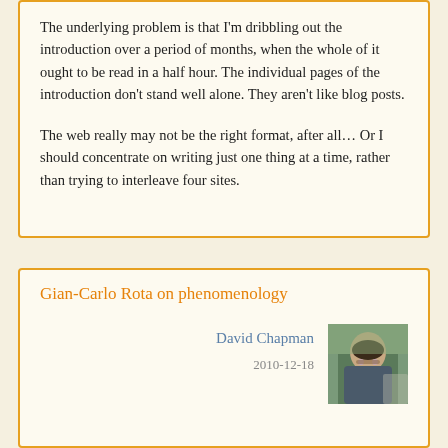The underlying problem is that I'm dribbling out the introduction over a period of months, when the whole of it ought to be read in a half hour. The individual pages of the introduction don't stand well alone. They aren't like blog posts.
The web really may not be the right format, after all... Or I should concentrate on writing just one thing at a time, rather than trying to interleave four sites.
Gian-Carlo Rota on phenomenology
David Chapman
2010-12-18